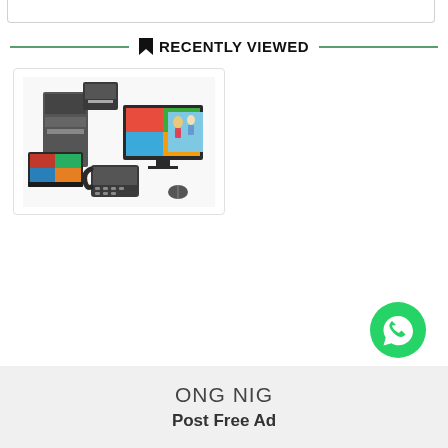RECENTLY VIEWED
[Figure (photo): Office electronics and technology products including printers, monitors, laptops, and a desk phone arranged together]
[Figure (logo): WhatsApp green circular button with white speech bubble and phone icon]
ONG NIG
Post Free Ad